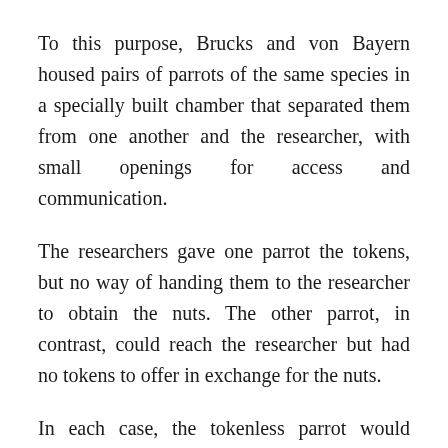To this purpose, Brucks and von Bayern housed pairs of parrots of the same species in a specially built chamber that separated them from one another and the researcher, with small openings for access and communication.
The researchers gave one parrot the tokens, but no way of handing them to the researcher to obtain the nuts. The other parrot, in contrast, could reach the researcher but had no tokens to offer in exchange for the nuts.
In each case, the tokenless parrot would signal to its partner, asking for help. The question was, of course: Would the parrot with the tokens hand them over to the tokenless parrot, knowing that only the other parrot would then be able to claim